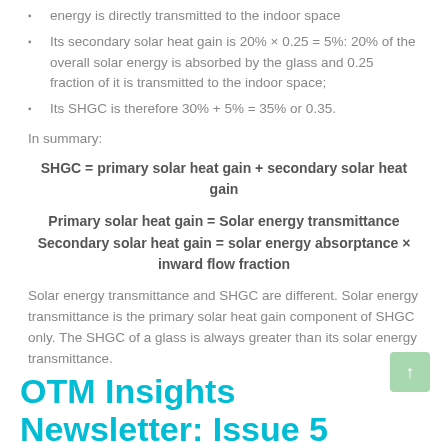energy is directly transmitted to the indoor space
Its secondary solar heat gain is 20% × 0.25 = 5%: 20% of the overall solar energy is absorbed by the glass and 0.25 fraction of it is transmitted to the indoor space;
Its SHGC is therefore 30% + 5% = 35% or 0.35.
In summary:
Solar energy transmittance and SHGC are different. Solar energy transmittance is the primary solar heat gain component of SHGC only. The SHGC of a glass is always greater than its solar energy transmittance.
OTM Insights Newsletter: Issue 5